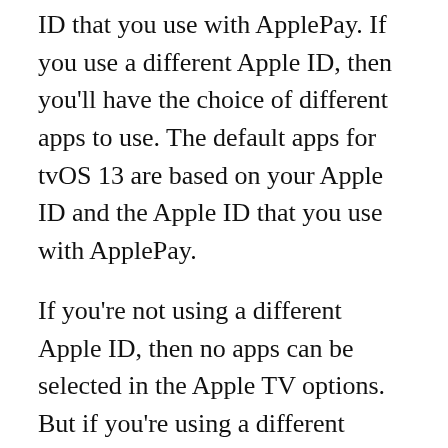ID that you use with ApplePay. If you use a different Apple ID, then you'll have the choice of different apps to use. The default apps for tvOS 13 are based on your Apple ID and the Apple ID that you use with ApplePay.
If you're not using a different Apple ID, then no apps can be selected in the Apple TV options. But if you're using a different Apple ID, then you're not going to be able to use your favorite apps. This is because you'll have to go through a process of setting different defaults. It's a bit like choosing the default video player in your home theater. There are a